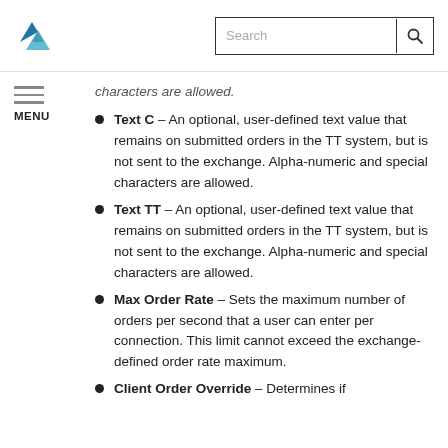TT platform documentation header with logo and search bar
characters are allowed.
Text C – An optional, user-defined text value that remains on submitted orders in the TT system, but is not sent to the exchange. Alpha-numeric and special characters are allowed.
Text TT – An optional, user-defined text value that remains on submitted orders in the TT system, but is not sent to the exchange. Alpha-numeric and special characters are allowed.
Max Order Rate – Sets the maximum number of orders per second that a user can enter per connection. This limit cannot exceed the exchange-defined order rate maximum.
Client Order Override – Determines if...